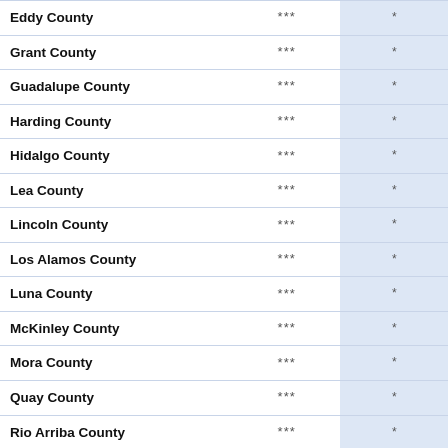|  |  |  |
| --- | --- | --- |
| Eddy County | *** | * |
| Grant County | *** | * |
| Guadalupe County | *** | * |
| Harding County | *** | * |
| Hidalgo County | *** | * |
| Lea County | *** | * |
| Lincoln County | *** | * |
| Los Alamos County | *** | * |
| Luna County | *** | * |
| McKinley County | *** | * |
| Mora County | *** | * |
| Quay County | *** | * |
| Rio Arriba County | *** | * |
| Roosevelt County | *** | * |
| San Miguel County | *** | * |
| Sierra County | *** | * |
| Socorro County | *** | * |